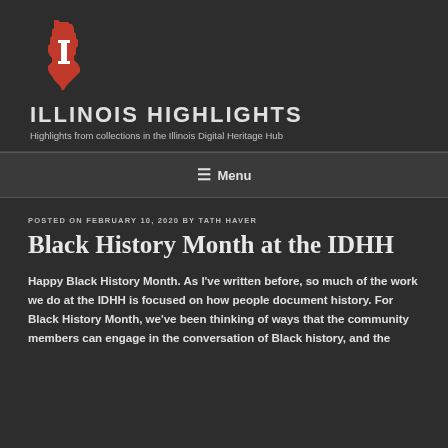[Figure (logo): Red Illinois state shape silhouette logo with a white letter I in the center]
ILLINOIS HIGHLIGHTS
Highlights from collections in the Illinois Digital Heritage Hub
≡ Menu
POSTED ON FEBRUARY 10, 2020 BY TATH HAVER
Black History Month at the IDHH
Happy Black History Month. As I've written before, so much of the work we do at the IDHH is focused on how people document history. For Black History Month, we've been thinking of ways that the community members can engage in the conversation of Black history, and the